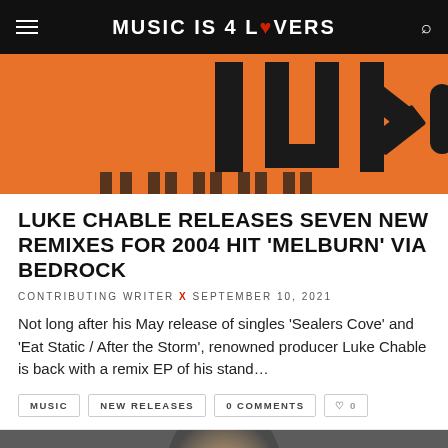MUSIC IS 4 LOVERS
[Figure (photo): Orange background with large bold text 'luke' visible, stylized album/EP artwork]
LUKE CHABLE RELEASES SEVEN NEW REMIXES FOR 2004 HIT 'MELBURN' VIA BEDROCK
CONTRIBUTING WRITER x SEPTEMBER 10, 2021
Not long after his May release of singles 'Sealers Cove' and 'Eat Static / After the Storm', renowned producer Luke Chable is back with a remix EP of his stand...
MUSIC   NEW RELEASES   0 COMMENTS   ♡ 0
[Figure (photo): Close-up photo of a man's face against a dark grey background, showing from chin upward]